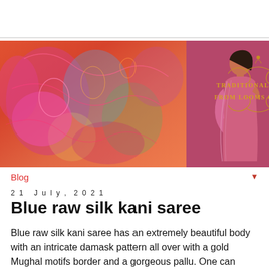[Figure (photo): Banner image showing colorful traditional Indian silk saree fabric with intricate patterns on the left, and a woman wearing a pink saree on the right against a mauve/pink background. Text overlay reads 'TRADITIONAL SAREES FROM LOOMS OF INDIA' in gold decorative lettering.]
Blog
21 July, 2021
Blue raw silk kani saree
Blue raw silk kani saree has an extremely beautiful body with an intricate damask pattern all over with a gold Mughal motifs border and a gorgeous pallu. One can never go wrong with this royal piece of heirloom. It has a gold and